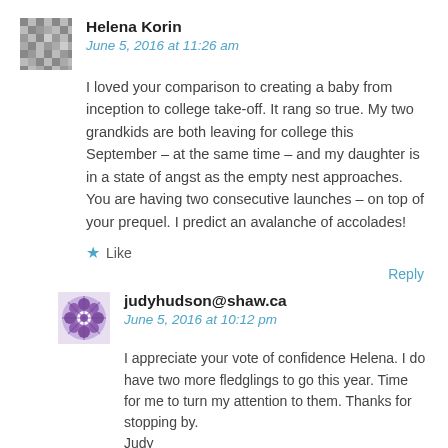Helena Korin
June 5, 2016 at 11:26 am
I loved your comparison to creating a baby from inception to college take-off. It rang so true. My two grandkids are both leaving for college this September – at the same time – and my daughter is in a state of angst as the empty nest approaches. You are having two consecutive launches – on top of your prequel. I predict an avalanche of accolades!
★ Like
Reply
judyhudson@shaw.ca
June 5, 2016 at 10:12 pm
I appreciate your vote of confidence Helena. I do have two more fledglings to go this year. Time for me to turn my attention to them. Thanks for stopping by.
Judy